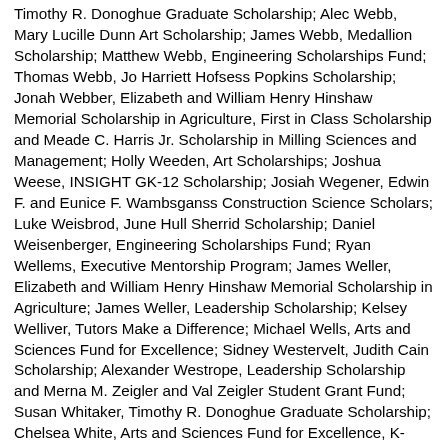Timothy R. Donoghue Graduate Scholarship; Alec Webb, Mary Lucille Dunn Art Scholarship; James Webb, Medallion Scholarship; Matthew Webb, Engineering Scholarships Fund; Thomas Webb, Jo Harriett Hofsess Popkins Scholarship; Jonah Webber, Elizabeth and William Henry Hinshaw Memorial Scholarship in Agriculture, First in Class Scholarship and Meade C. Harris Jr. Scholarship in Milling Sciences and Management; Holly Weeden, Art Scholarships; Joshua Weese, INSIGHT GK-12 Scholarship; Josiah Wegener, Edwin F. and Eunice F. Wambsganss Construction Science Scholars; Luke Weisbrod, June Hull Sherrid Scholarship; Daniel Weisenberger, Engineering Scholarships Fund; Ryan Wellems, Executive Mentorship Program; James Weller, Elizabeth and William Henry Hinshaw Memorial Scholarship in Agriculture; James Weller, Leadership Scholarship; Kelsey Welliver, Tutors Make a Difference; Michael Wells, Arts and Sciences Fund for Excellence; Sidney Westervelt, Judith Cain Scholarship; Alexander Westrope, Leadership Scholarship and Merna M. Zeigler and Val Zeigler Student Grant Fund; Susan Whitaker, Timothy R. Donoghue Graduate Scholarship; Chelsea White, Arts and Sciences Fund for Excellence, K-State Alumni Association Legacy Scholarship, K-State Marching Band Scholarship, Marching Pride Scholars, Marion Herfort Pelton Music Scholarship Fund and Stratton-Farrell Memorial Scholarship Fund; Ravyn White, Lynn and Hazel Russell Memorial Scholarship; Shaquan White, Cargill Project Impact Scholarships and Memorial Scholarship; Samuel Wickersham, Educational Opportunity Fund; Haley Wiechman, Heritage Award; Halli Wigger, Ethel P. and Francis E. Carpenter Scholarship and Leadership